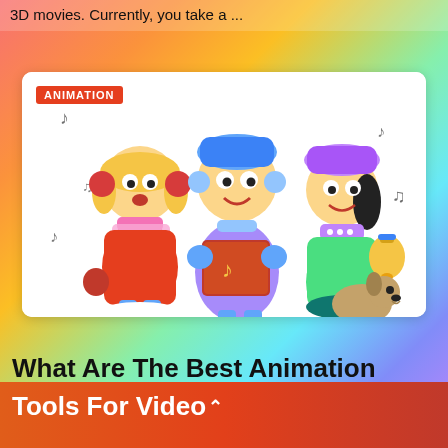3D movies. Currently, you take a ...
[Figure (illustration): Cartoon illustration of three children in winter clothing singing carols — a girl with red earmuffs and pink scarf, a boy holding a red songbook with blue earmuffs, and a girl with a purple hat ringing a bell — with a small dog, music notes floating around, on a white background. An orange-red 'ANIMATION' badge is in the top-left corner.]
What Are The Best Animation Tools For Video
Tools For Video